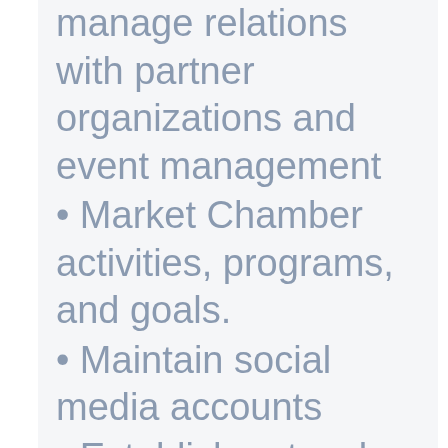manage relations with partner organizations and event management
Market Chamber activities, programs, and goals.
Maintain social media accounts
Establish networks, maintain a good working relationship, and